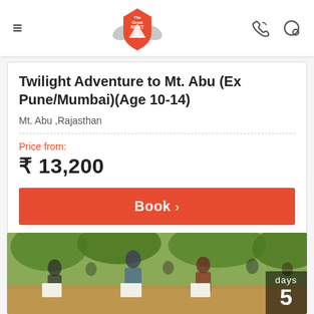[Figure (logo): The Great NEXT shield logo in red and grey]
Twilight Adventure to Mt. Abu (Ex Pune/Mumbai)(Age 10-14)
Mt. Abu, Rajasthan
Price from:
₹ 13,200
Book
[Figure (photo): Group of children and adults standing outdoors in a wooded area, holding white posters/signs. Overlaid text shows '5 days'.]